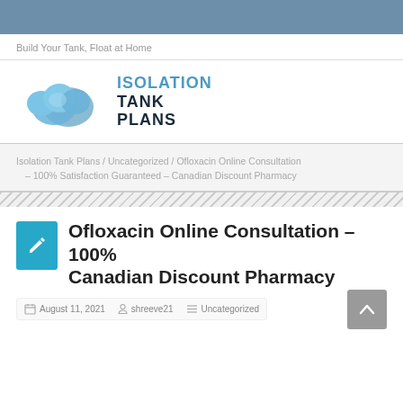Build Your Tank, Float at Home
[Figure (logo): Isolation Tank Plans logo with blue cloud graphic and text ISOLATION TANK PLANS]
Isolation Tank Plans / Uncategorized / Ofloxacin Online Consultation – 100% Satisfaction Guaranteed – Canadian Discount Pharmacy
Ofloxacin Online Consultation – 100% Canadian Discount Pharmacy
August 11, 2021  shreeve21  Uncategorized